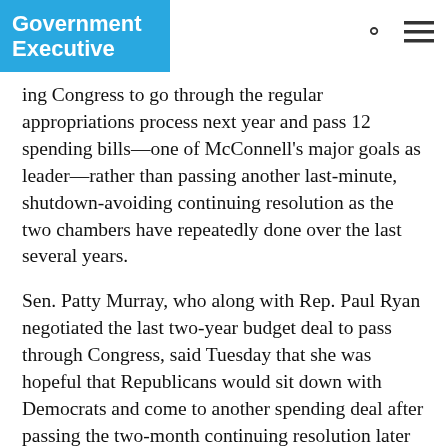Government Executive
ing Congress to go through the regular appropriations process next year and pass 12 spending bills—one of McConnell's major goals as leader—rather than passing another last-minute, shutdown-avoiding continuing resolution as the two chambers have repeatedly done over the last several years.
Sen. Patty Murray, who along with Rep. Paul Ryan negotiated the last two-year budget deal to pass through Congress, said Tuesday that she was hopeful that Republicans would sit down with Democrats and come to another spending deal after passing the two-month continuing resolution later this week.
“I am hoping this next deadline can be different. I am hoping we can avoid the drama, avoid the countdown clocks,